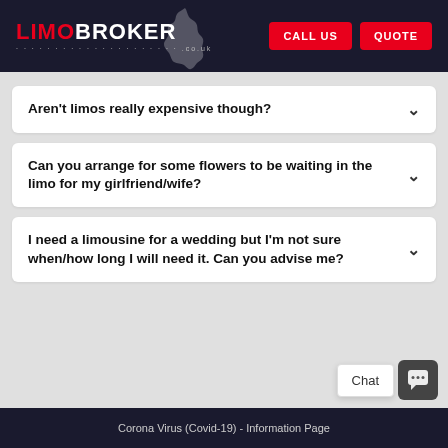LIMOBROKER.co.uk — CALL US | QUOTE
Aren't limos really expensive though?
Can you arrange for some flowers to be waiting in the limo for my girlfriend/wife?
I need a limousine for a wedding but I'm not sure when/how long I will need it. Can you advise me?
Corona Virus (Covid-19) - Information Page